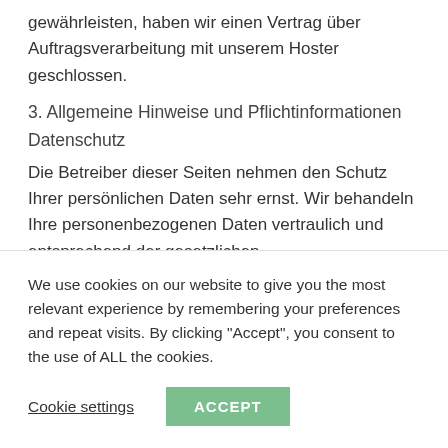gewährleisten, haben wir einen Vertrag über Auftragsverarbeitung mit unserem Hoster geschlossen.
3. Allgemeine Hinweise und Pflichtinformationen
Datenschutz
Die Betreiber dieser Seiten nehmen den Schutz Ihrer persönlichen Daten sehr ernst. Wir behandeln Ihre personenbezogenen Daten vertraulich und entsprechend der gesetzlichen Datenschutzvorschriften sowie dieser Datenschutzerklärung.
Wenn Sie diese Website benutzen, werden verschiedene
We use cookies on our website to give you the most relevant experience by remembering your preferences and repeat visits. By clicking "Accept", you consent to the use of ALL the cookies.
Cookie settings
ACCEPT